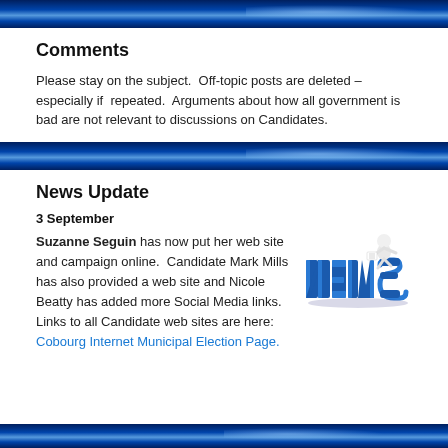Comments
Please stay on the subject.  Off-topic posts are deleted – especially if  repeated.  Arguments about how all government is bad are not relevant to discussions on Candidates.
News Update
3 September
Suzanne Seguin has now put her web site and campaign online.  Candidate Mark Mills has also provided a web site and Nicole Beatty has added more Social Media links.  Links to all Candidate web sites are here: Cobourg Internet Municipal Election Page.
[Figure (illustration): 3D illustration of the word NEWS in blue letters with a white cartoon figure sitting on top reading a newspaper]